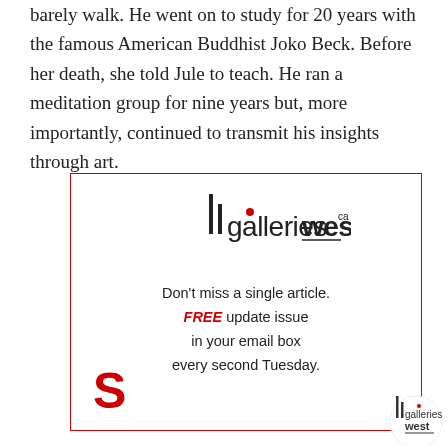barely walk. He went on to study for 20 years with the famous American Buddhist Joko Beck. Before her death, she told Jule to teach. He ran a meditation group for nine years but, more importantly, continued to transmit his insights through art.
[Figure (logo): Galleries West logo with red asterisk and 'ca' superscript, inside a red-bordered advertisement box. Ad text: Don't miss a single article. FREE update issue in your email box every second Tuesday. Large red S at bottom left.]
[Figure (logo): Galleries West watermark logo in bottom right corner]